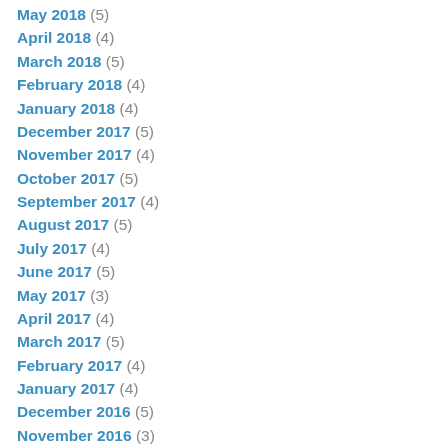May 2018 (5)
April 2018 (4)
March 2018 (5)
February 2018 (4)
January 2018 (4)
December 2017 (5)
November 2017 (4)
October 2017 (5)
September 2017 (4)
August 2017 (5)
July 2017 (4)
June 2017 (5)
May 2017 (3)
April 2017 (4)
March 2017 (5)
February 2017 (4)
January 2017 (4)
December 2016 (5)
November 2016 (3)
October 2016 (4)